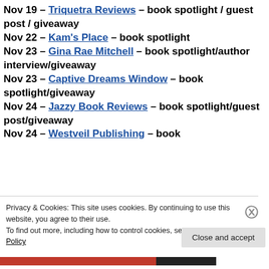Nov 19 – Triquetra Reviews – book spotlight / guest post / giveaway
Nov 22 – Kam's Place – book spotlight
Nov 23 – Gina Rae Mitchell – book spotlight/author interview/giveaway
Nov 23 – Captive Dreams Window – book spotlight/giveaway
Nov 24 – Jazzy Book Reviews – book spotlight/guest post/giveaway
Nov 24 – Westveil Publishing – book
Privacy & Cookies: This site uses cookies. By continuing to use this website, you agree to their use.
To find out more, including how to control cookies, see here: Cookie Policy
Close and accept